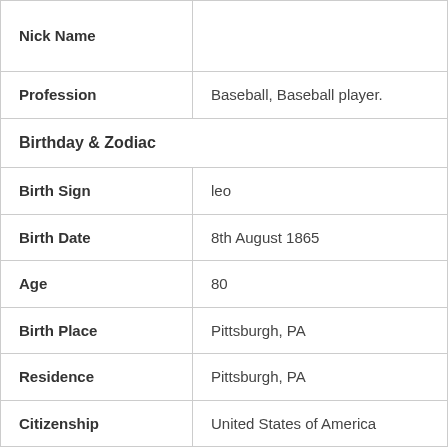| Nick Name |  |
| Profession | Baseball, Baseball player. |
| Birthday & Zodiac |  |
| Birth Sign | leo |
| Birth Date | 8th August 1865 |
| Age | 80 |
| Birth Place | Pittsburgh, PA |
| Residence | Pittsburgh, PA |
| Citizenship | United States of America |